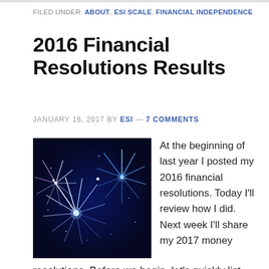FILED UNDER: ABOUT, ESI SCALE, FINANCIAL INDEPENDENCE
2016 Financial Resolutions Results
JANUARY 16, 2017 BY ESI — 7 COMMENTS
[Figure (photo): Blue fireworks bursting against a dark night sky]
At the beginning of last year I posted my 2016 financial resolutions. Today I'll review how I did. Next week I'll share my 2017 money resolutions. Before we begin, let's quickly list what the 2106 resolutions included. They were: Meet net worth goal Review/manage investments Earn extra